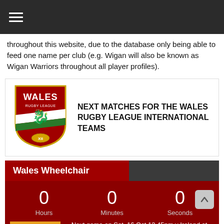≡ (hamburger menu)
throughout this website, due to the database only being able to feed one name per club (e.g. Wigan will also be known as Wigan Warriors throughout all player profiles).
[Figure (logo): Wales Rugby League crest/shield logo — red, green and white shield with a dragon and text 'WALES RUGBY LEAGUE']
NEXT MATCHES FOR THE WALES RUGBY LEAGUE INTERNATIONAL TEAMS
Wales Wheelchair
0 Hours   0 Minutes   0 Seconds
Next game on Sat, 16 Oct 12.45pm v Ireland at Glyndwr University, Wrexham